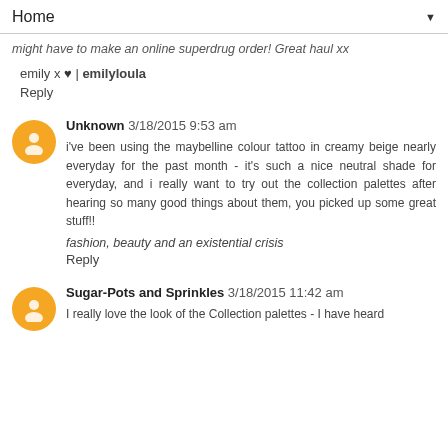Home ▼
might have to make an online superdrug order! Great haul xx
emily x ♥ | emilyloula
Reply
Unknown 3/18/2015 9:53 am
i've been using the maybelline colour tattoo in creamy beige nearly everyday for the past month - it's such a nice neutral shade for everyday, and i really want to try out the collection palettes after hearing so many good things about them, you picked up some great stuff!!
fashion, beauty and an existential crisis
Reply
Sugar-Pots and Sprinkles 3/18/2015 11:42 am
I really love the look of the Collection palettes - I have heard